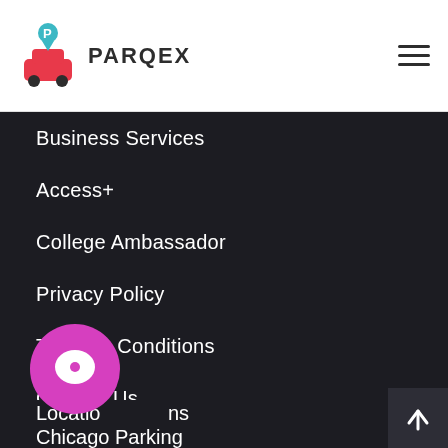PARQEX
Business Services
Access+
College Ambassador
Privacy Policy
Terms & Conditions
Contact Us
Jobs
Press
Locations
Chicago Parking